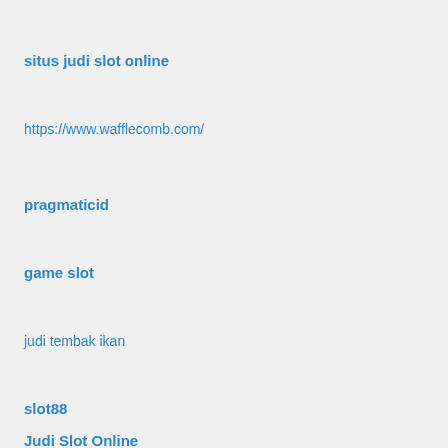situs judi slot online
https://www.wafflecomb.com/
pragmaticid
game slot
judi tembak ikan
slot88
Judi Slot Online